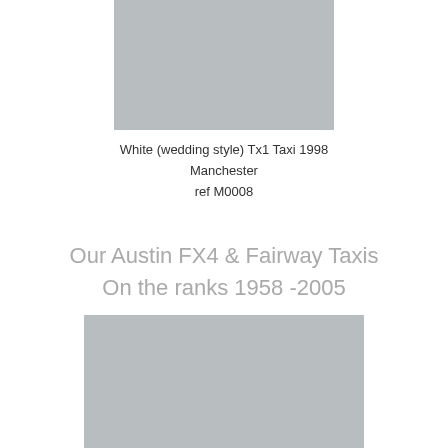[Figure (photo): Grey placeholder rectangle representing a taxi photo (top)]
White (wedding style) Tx1 Taxi 1998 Manchester ref M0008
Our Austin FX4 & Fairway Taxis On the ranks 1958 -2005
[Figure (photo): Grey placeholder rectangle representing a taxi photo (bottom)]